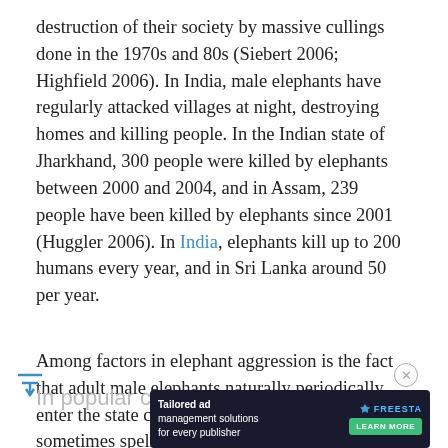destruction of their society by massive cullings done in the 1970s and 80s (Siebert 2006; Highfield 2006). In India, male elephants have regularly attacked villages at night, destroying homes and killing people. In the Indian state of Jharkhand, 300 people were killed by elephants between 2000 and 2004, and in Assam, 239 people have been killed by elephants since 2001 (Huggler 2006). In India, elephants kill up to 200 humans every year, and in Sri Lanka around 50 per year.
Among factors in elephant aggression is the fact that adult male elephants naturally periodically enter the state called musth (Hindi for "madness"), sometimes spelled "must" in English.
In popular culture
[Figure (screenshot): Advertisement banner: Tailored ad management solutions for every publisher — FreeStar with Learn More button]